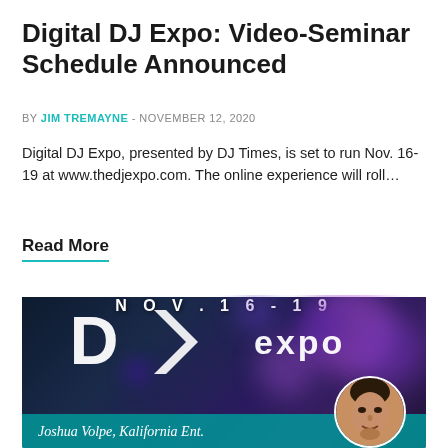Digital DJ Expo: Video-Seminar Schedule Announced
BY JIM TREMAYNE - NOVEMBER 12, 2020
Digital DJ Expo, presented by DJ Times, is set to run Nov. 16-19 at www.thedjexpo.com. The online experience will roll…
Read More
[Figure (photo): Promotional banner for Digital DJ Expo showing the DJExpo logo, dates NOV.16-19, with a photo of Joshua Volpe of Kalifornia Ent. and bokeh purple/blue background lighting effects.]